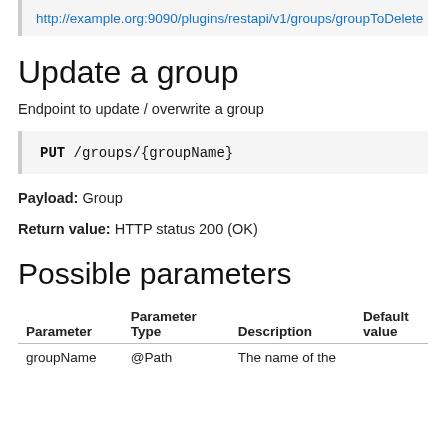http://example.org:9090/plugins/restapi/v1/groups/groupToDelete
Update a group
Endpoint to update / overwrite a group
PUT /groups/{groupName}
Payload: Group
Return value: HTTP status 200 (OK)
Possible parameters
| Parameter | Parameter Type | Description | Default value |
| --- | --- | --- | --- |
| groupName | @Path | The name of the |  |